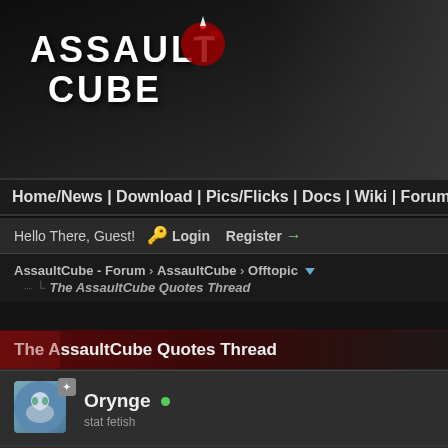[Figure (screenshot): AssaultCube game logo with red paint splatter on dark background header banner]
Home/News | Download | Pics/Flicks | Docs | Wiki | Forum | IRC | D
Hello There, Guest! Login Register →
AssaultCube - Forum › AssaultCube › Offtopic ▼
The AssaultCube Quotes Thread
The AssaultCube Quotes Thread
Orynge • stat fetish
16 Dec 12, 07:27AM
[17:24:31] <Aekom> just finished playing 2 hours of woodcutter simulator 2
Find